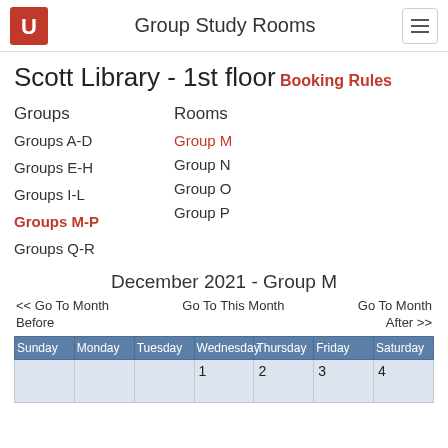Group Study Rooms
Scott Library - 1st floor
Booking Rules
Groups
Rooms
Groups A-D
Groups E-H
Groups I-L
Groups M-P
Groups Q-R
Group M
Group N
Group O
Group P
December 2021 - Group M
<< Go To Month Before
Go To This Month
Go To Month After >>
| Sunday | Monday | Tuesday | Wednesday | Thursday | Friday | Saturday |
| --- | --- | --- | --- | --- | --- | --- |
|  |  |  | 1 | 2 | 3 | 4 |